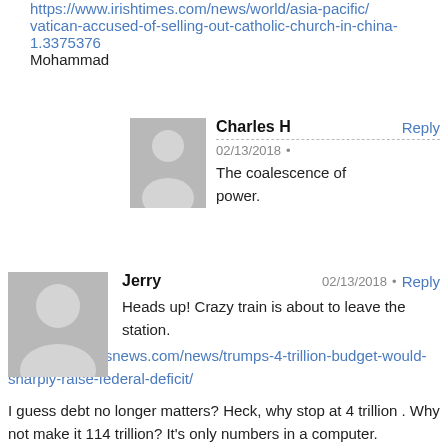https://www.irishtimes.com/news/world/asia-pacific/vatican-accused-of-selling-out-catholic-church-in-china-1.3375376
Mohammad
Charles H
02/13/2018 • Reply
The coalescence of power.
Jerry
02/13/2018 • Reply
Heads up! Crazy train is about to leave the station.
https://www.cbsnews.com/news/trumps-4-trillion-budget-would-sharply-raise-federal-deficit/
I guess debt no longer matters? Heck, why stop at 4 trillion . Why not make it 114 trillion? It's only numbers in a computer.